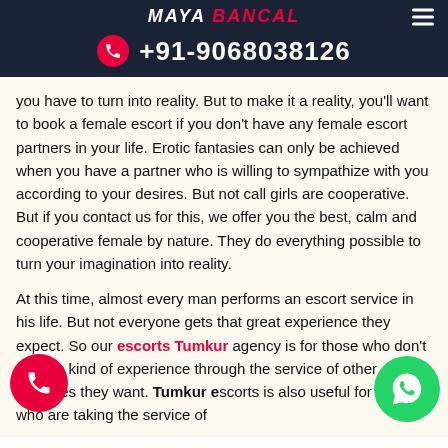MAYA BANCAL +91-9068038126
you have to turn into reality. But to make it a reality, you'll want to book a female escort if you don't have any female escort partners in your life. Erotic fantasies can only be achieved when you have a partner who is willing to sympathize with you according to your desires. But not call girls are cooperative. But if you contact us for this, we offer you the best, calm and cooperative female by nature. They do everything possible to turn your imagination into reality.
At this time, almost every man performs an escort service in his life. But not everyone gets that great experience they expect. So our escorts Tumkur agency is for those who don't get this kind of experience through the service of other agencies they want. Tumkur escorts is also useful for those who are taking the service of